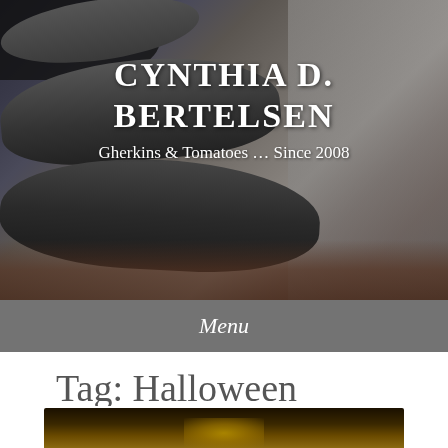[Figure (photo): Header photo of stacked dark stone mortar and pestle on a brick/stone floor with a stone wall in the background. White text overlaid reads 'CYNTHIA D. BERTELSEN' and 'Gherkins & Tomatoes ... Since 2008'.]
CYNTHIA D. BERTELSEN
Gherkins & Tomatoes ... Since 2008
Menu
Tag: Halloween
[Figure (photo): Partial view of a dark image with warm golden/amber tones, possibly a Halloween-themed decorative object.]